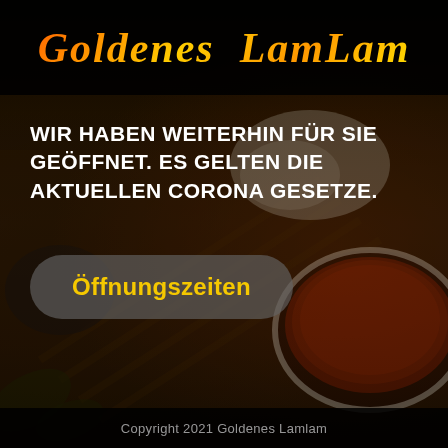Goldenes LamLam
[Figure (photo): Dark background photo of Asian food dishes including bowls with soup/sauce and other food items on a wooden surface, dimly lit with warm tones]
WIR HABEN WEITERHIN FÜR SIE GEÖFFNET. ES GELTEN DIE AKTUELLEN CORONA GESETZE.
Öffnungszeiten
Copyright 2021 Goldenes Lamlam